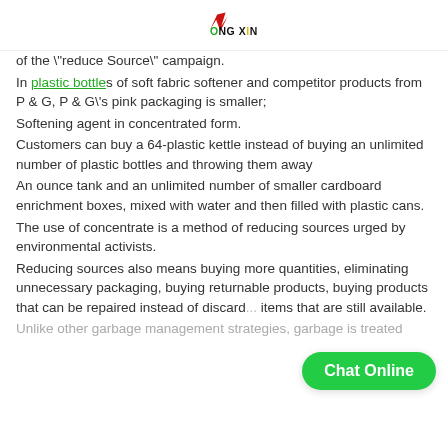ONG XING logo
of the "reduce Source" campaign.
In plastic bottles of soft fabric softener and competitor products from P & G, P & G's pink packaging is smaller;
Softening agent in concentrated form.
Customers can buy a 64-plastic kettle instead of buying an unlimited number of plastic bottles and throwing them away
An ounce tank and an unlimited number of smaller cardboard enrichment boxes, mixed with water and then filled with plastic cans.
The use of concentrate is a method of reducing sources urged by environmental activists.
Reducing sources also means buying more quantities, eliminating unnecessary packaging, buying returnable products, buying products that can be repaired instead of discarded, and buying items that are still available.
Unlike other garbage management strategies, garbage is treated